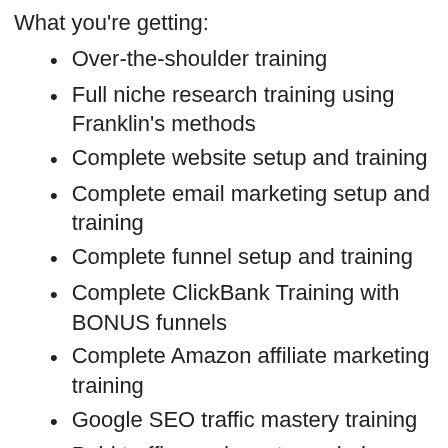What you're getting:
Over-the-shoulder training
Full niche research training using Franklin's methods
Complete website setup and training
Complete email marketing setup and training
Complete funnel setup and training
Complete ClickBank Training with BONUS funnels
Complete Amazon affiliate marketing training
Google SEO traffic mastery training
Paid traffic academy to explode